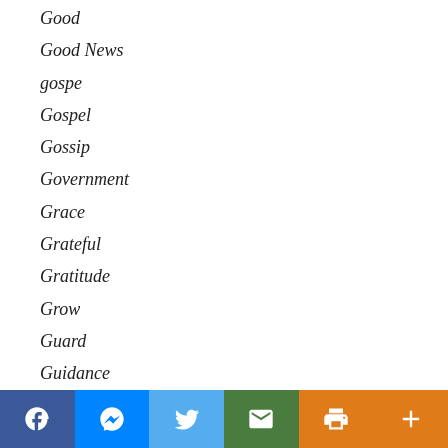Good
Good News
gospe
Gospel
Gossip
Government
Grace
Grateful
Gratitude
Grow
Guard
Guidance
Guide Us
Guilt
Hard
Hate